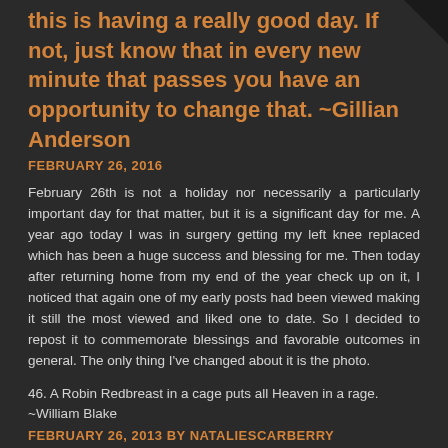this is having a really good day. If not, just know that in every new minute that passes you have an opportunity to change that. ~Gillian Anderson
FEBRUARY 26, 2016
February 26th is not a holiday nor necessarily a particularly important day for that matter, but it is a significant day for me. A year ago today I was in surgery getting my left knee replaced which has been a huge success and blessing for me. Then today after returning home from my end of the year check up on it, I noticed that again one of my early posts had been viewed making it still the most viewed and liked one to date. So I decided to repost it to commemorate blessings and favorable outcomes in general. The only thing I've changed about it is the photo.
46. A Robin Redbreast in a cage puts all Heaven in a rage. ~William Blake
FEBRUARY 26, 2013 BY NATALIESCARBERRY
When father takes his spade to dig
then Robin comes along;